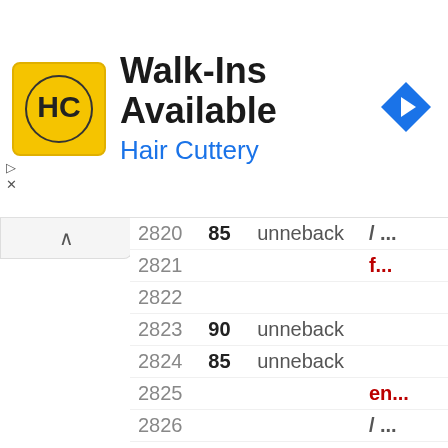[Figure (infographic): Advertisement banner for Hair Cuttery - Walk-Ins Available with logo and navigation arrow]
| Line | Value | Command | Code |
| --- | --- | --- | --- |
| 2820 | 85 | unneback | / ... |
| 2821 |  |  | f... |
| 2822 |  |  |  |
| 2823 | 90 | unneback |  |
| 2824 | 85 | unneback |  |
| 2825 |  |  | en... |
| 2826 |  |  | / ... |
| 2827 |  |  | f... |
| 2828 |  |  |  |
| 2829 | 90 | unneback |  |
| 2830 |  |  |  |
| 2831 | 85 | unneback |  |
| 2832 |  |  | en... |
| 2833 | 93 | unneback | `end... |
| 2834 | 7 | unneback | endm... |
| 2835 |  |  | modu... |
| 2836 | 6 | unneback | p... |